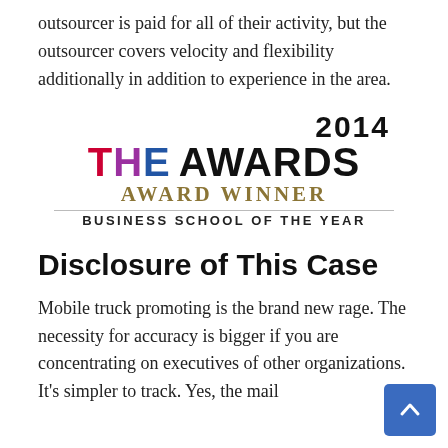outsourcer is paid for all of their activity, but the outsourcer covers velocity and flexibility additionally in addition to experience in the area.
[Figure (logo): 2014 The Awards – Award Winner – Business School of the Year logo]
Disclosure of This Case
Mobile truck promoting is the brand new rage. The necessity for accuracy is bigger if you are concentrating on executives of other organizations. It's simpler to track. Yes, the mail